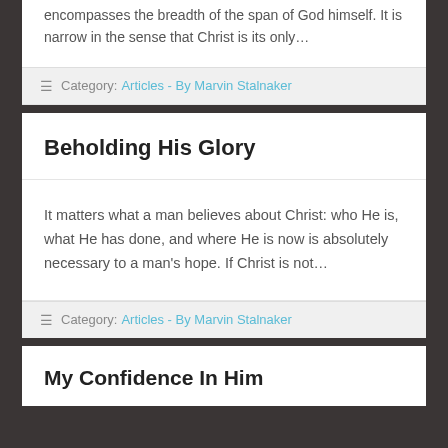encompasses the breadth of the span of God himself. It is narrow in the sense that Christ is its only…
Category: Articles - By Marvin Stalnaker
Beholding His Glory
It matters what a man believes about Christ: who He is, what He has done, and where He is now is absolutely necessary to a man's hope. If Christ is not…
Category: Articles - By Marvin Stalnaker
My Confidence In Him